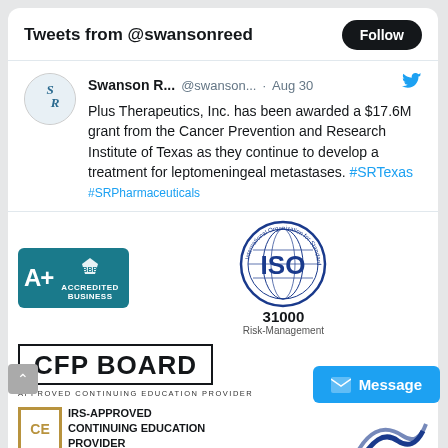Tweets from @swansonreed   Follow
Swanson R... @swanson... · Aug 30
Plus Therapeutics, Inc. has been awarded a $17.6M grant from the Cancer Prevention and Research Institute of Texas as they continue to develop a treatment for leptomeningeal metastases. #SRTexas #SRPharmaceuticals
[Figure (logo): BBB Accredited Business A+ badge (teal background)]
[Figure (logo): ISO International Organization for Standardization 31000 Risk-Management badge]
[Figure (logo): CFP Board Approved Continuing Education Provider]
[Figure (logo): IRS-Approved Continuing Education Provider CE badge]
[Figure (logo): NASBA logo partial]
[Figure (logo): CPE National logo partial]